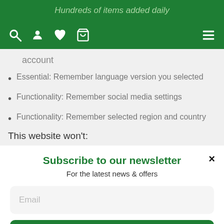Hundreds of items added daily
[Figure (screenshot): Green navigation bar with search, account, wishlist, cart icons on left and hamburger menu on right]
account
Essential: Remember language version you selected
Functionality: Remember social media settings
Functionality: Remember selected region and country
This website won't:
Subscribe to our newsletter
For the latest news & offers
Email
Subscribe